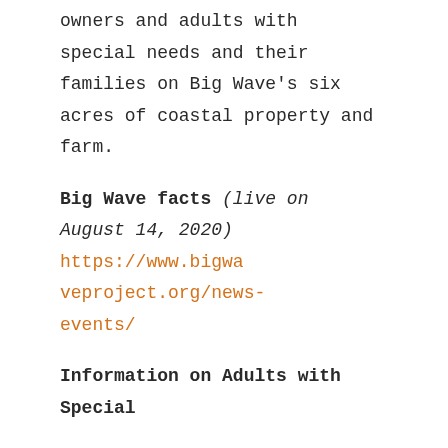owners and adults with special needs and their families on Big Wave's six acres of coastal property and farm.
Big Wave facts (live on August 14, 2020) https://www.bigwaveproject.org/news-events/
Information on Adults with Special